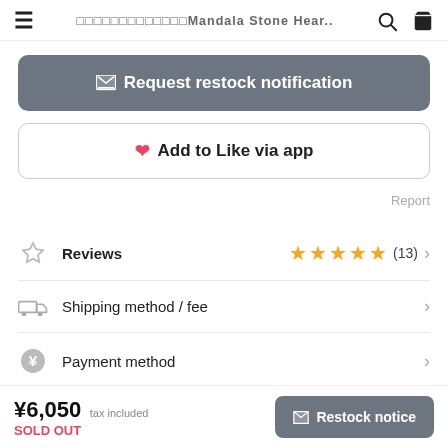□□□□□□□□□□□□□ Mandala Stone Hear..
✉ Request restock notification
❤ Add to Like via app
Report
Reviews ★★★★★ (13)
Shipping method / fee
Payment method
¥6,050 tax included SOLD OUT   ✉ Restock notice